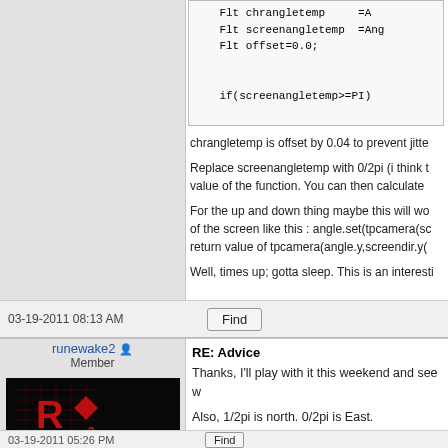[Figure (screenshot): Code snippet showing Flt chrangletemp =A..., Flt screenangletemp =Ang..., Flt offset=0.0; and if(screenangletemp>=PI)]
chrangletemp is offset by 0.04 to prevent jitte
Replace screenangletemp with 0/2pi (i think t... value of the function. You can then calculate
For the up and down thing maybe this will wo... of the screen like this : angle.set(tpcamera(sc... return value of tpcamera(angle.y,screendir.y(
Well, times up; gotta sleep. This is an interesti
03-19-2011 08:13 AM
Find
RE: Advice
runewake2
Member
[Figure (photo): Avatar image: dark background with red grid logo featuring letter R and R2]
Thanks, I'll play with it this weekend and see w
Also, 1/2pi is north. 0/2pi is East.
03-19-2011 05:26 PM
Find